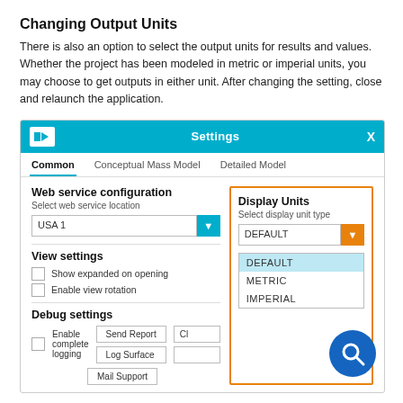Changing Output Units
There is also an option to select the output units for results and values.  Whether the project has been modeled in metric or imperial units, you may choose to get outputs in either unit. After changing the setting, close and relaunch the application.
[Figure (screenshot): Settings dialog screenshot showing Common tab with Web service configuration (USA 1 dropdown), Display Units section highlighted in orange border with DEFAULT/METRIC/IMPERIAL dropdown open, View settings with checkboxes, and Debug settings section. A blue search bubble overlays the bottom right.]